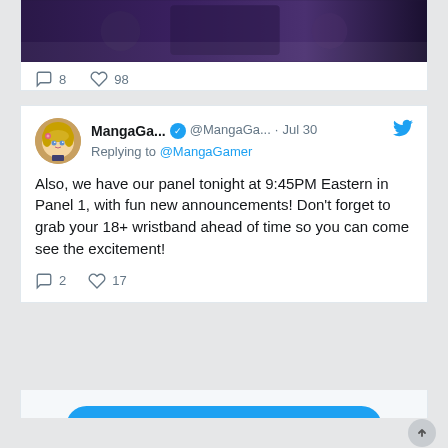[Figure (screenshot): Partial tweet card showing bottom of an image (dark gaming/anime themed) with comment count 8 and like count 98]
[Figure (screenshot): Twitter/X tweet from MangaGa... (@MangaGa...) verified account, dated Jul 30, replying to @MangaGamer. Tweet text: Also, we have our panel tonight at 9:45PM Eastern in Panel 1, with fun new announcements! Don't forget to grab your 18+ wristband ahead of time so you can come see the excitement! Likes: 17, Comments: 2]
View more on Twitter
Learn more about privacy on Twitter